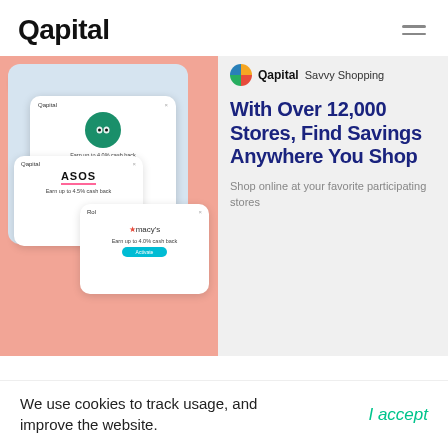Qapital
[Figure (screenshot): Qapital app screenshot showing shopping cashback cards for TripAdvisor, ASOS, and Macy's overlaid on a phone interface with Chrome Web Store badge, on a salmon/pink background]
Qapital Savvy Shopping
With Over 12,000 Stores, Find Savings Anywhere You Shop
Shop online at your favorite participating stores
We use cookies to track usage, and improve the website.
I accept